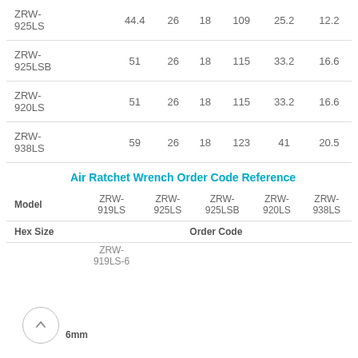| Model |  |  |  |  |  |  |
| --- | --- | --- | --- | --- | --- | --- |
| ZRW-925LS | 44.4 | 26 | 18 | 109 | 25.2 | 12.2 |
| ZRW-925LSB | 51 | 26 | 18 | 115 | 33.2 | 16.6 |
| ZRW-920LS | 51 | 26 | 18 | 115 | 33.2 | 16.6 |
| ZRW-938LS | 59 | 26 | 18 | 123 | 41 | 20.5 |
Air Ratchet Wrench Order Code Reference
| Model | ZRW-919LS | ZRW-925LS | ZRW-925LSB | ZRW-920LS | ZRW-938LS |
| --- | --- | --- | --- | --- | --- |
| Hex Size |  |  | Order Code |  |  |
| 6mm | ZRW-919LS-6 |  |  |  |  |